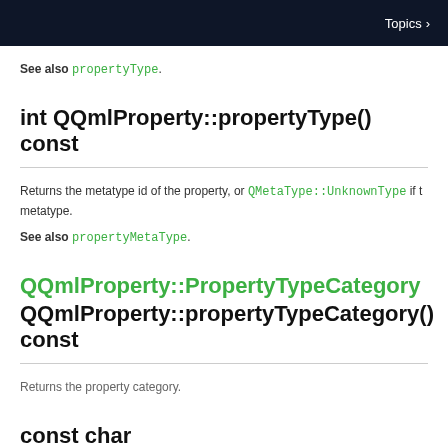Topics >
See also propertyType.
int QQmlProperty::propertyType() const
Returns the metatype id of the property, or QMetaType::UnknownType if the property has no metatype.
See also propertyMetaType.
QQmlProperty::PropertyTypeCategory QQmlProperty::propertyTypeCategory() const
Returns the property category.
const char *QQmlProperty::propertyTypeName() co